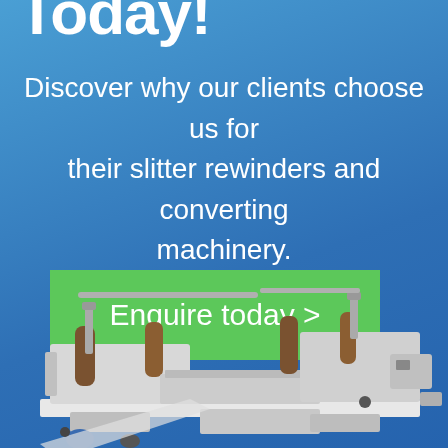Today!
Discover why our clients choose us for their slitter rewinders and converting machinery.
Enquire today >
[Figure (photo): Industrial slitter rewinder and converting machinery, white/grey metal machine with rollers, mounted on a surface, photographed at an angle.]